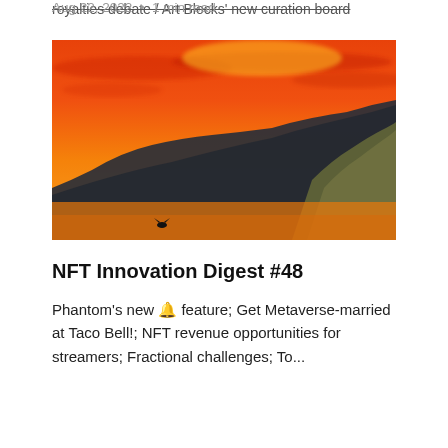royalties debate / Art Blocks' new curation board
Aug 22, 2022 • 1 min read
[Figure (illustration): Watercolor painting of dark mountain silhouettes against a vivid orange and red sky, with a small bird figure at the bottom center.]
NFT Innovation Digest #48
Phantom's new 🔔 feature; Get Metaverse-married at Taco Bell!; NFT revenue opportunities for streamers; Fractional challenges; To...